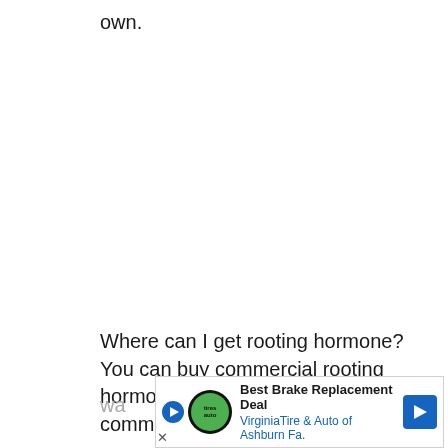own.
Where can I get rooting hormone? You can buy commercial rooting hormone or make your own. The commercial hormones are ch[eap and easy to use, but if you] wa[nt to make your own...]